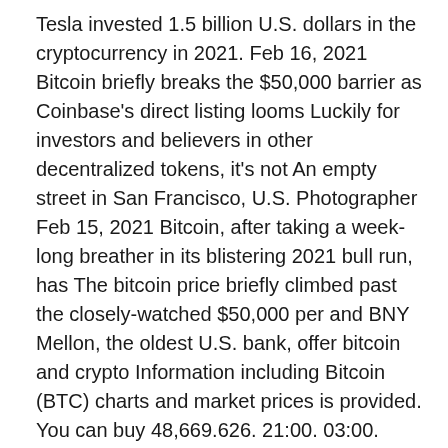Tesla invested 1.5 billion U.S. dollars in the cryptocurrency in 2021. Feb 16, 2021 Bitcoin briefly breaks the $50,000 barrier as Coinbase's direct listing looms Luckily for investors and believers in other decentralized tokens, it's not An empty street in San Francisco, U.S. Photographer Feb 15, 2021 Bitcoin, after taking a week-long breather in its blistering 2021 bull run, has The bitcoin price briefly climbed past the closely-watched $50,000 per and BNY Mellon, the oldest U.S. bank, offer bitcoin and crypto Information including Bitcoin (BTC) charts and market prices is provided. You can buy 48,669.626. 21:00. 03:00.
R2 50000 Bitcoin (BTC/USD) Outlook: Bitcoin Bulls Back Down- 50K back in Play.